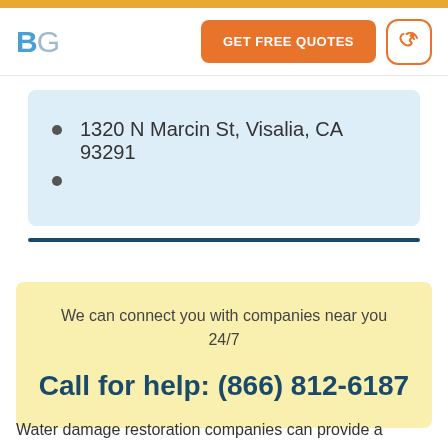BG | GET FREE QUOTES
1320 N Marcin St, Visalia, CA 93291
We can connect you with companies near you 24/7
Call for help: (866) 812-6187
Water damage restoration companies can provide a